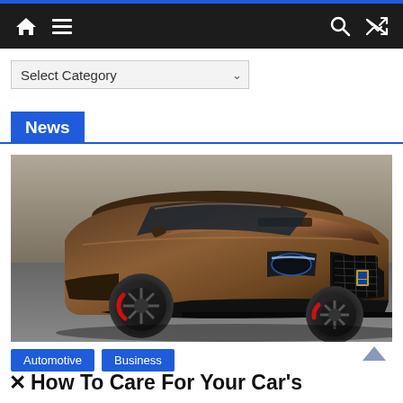Navigation bar with home, menu, search, and shuffle icons
Select Category
News
[Figure (photo): A dark brown/bronze high-performance Cadillac CTS-V sedan photographed from the front-left angle, showing aggressive front grille, wide body kit, black wheels with red brake calipers, on a road background.]
Automotive
Business
How To Care For Your Car's